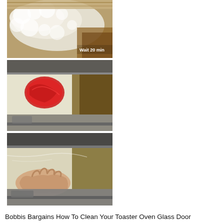[Figure (photo): Top photo: baking soda or cleaning paste applied to a toaster oven glass surface, with text overlay 'Wait 20 min']
[Figure (photo): Middle photo: open toaster oven door showing cleaning paste and a red scrubbing pad on the glass]
[Figure (photo): Bottom photo: open toaster oven door with a hand wiping away the cleaning paste from the glass]
Bobbis Bargains How To Clean Your Toaster Oven Glass Door